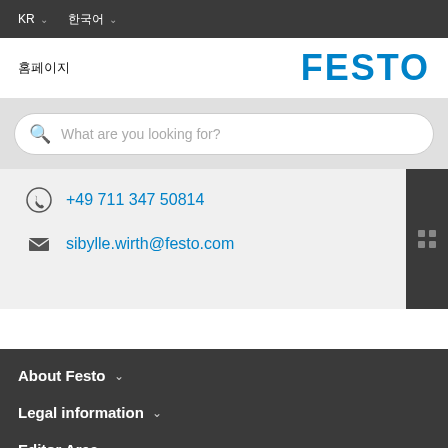KR  ∨  한국어  ∨
FESTO
홈페이지
What are you looking for?
+49 711 347 50814
sibylle.wirth@festo.com
About Festo ∨
Legal information ∨
Editor Area ∨